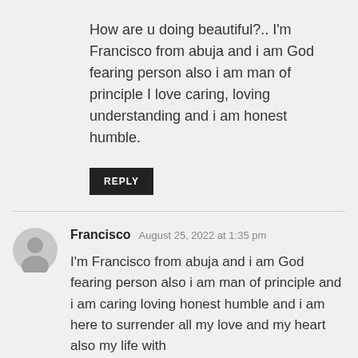How are u doing beautiful?.. I'm Francisco from abuja and i am God fearing person also i am man of principle I love caring, loving understanding and i am honest humble.
REPLY
Francisco  August 25, 2022 at 1:35 pm
I'm Francisco from abuja and i am God fearing person also i am man of principle and i am caring loving honest humble and i am here to surrender all my love and my heart also my life with